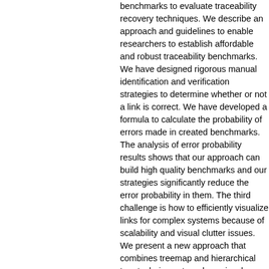benchmarks to evaluate traceability recovery techniques. We describe an approach and guidelines to enable researchers to establish affordable and robust traceability benchmarks. We have designed rigorous manual identification and verification strategies to determine whether or not a link is correct. We have developed a formula to calculate the probability of errors made in created benchmarks. The analysis of error probability results shows that our approach can build high quality benchmarks and our strategies significantly reduce the error probability in them. The third challenge is how to efficiently visualize links for complex systems because of scalability and visual clutter issues. We present a new approach that combines treemap and hierarchical tree techniques to reduce visual clutter and to allow the visualization of the global structure of traces and a detailed overview of each trace, while still being highly scalable and interactive. The usability